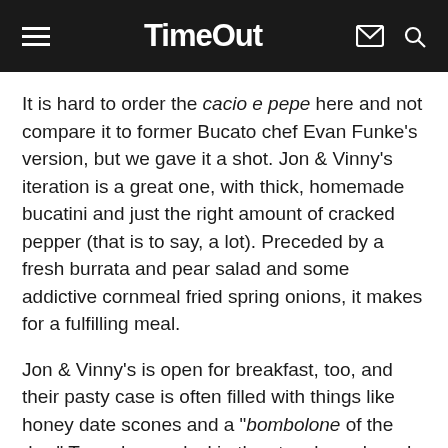Time Out
It is hard to order the cacio e pepe here and not compare it to former Bucato chef Evan Funke's version, but we gave it a shot. Jon & Vinny's iteration is a great one, with thick, homemade bucatini and just the right amount of cracked pepper (that is to say, a lot). Preceded by a fresh burrata and pear salad and some addictive cornmeal fried spring onions, it makes for a fulfilling meal.
Jon & Vinny's is open for breakfast, too, and their pasty case is often filled with things like honey date scones and a "bombolone of the day." To end a meal, skip the strawberry bread pudding and go for the cinnamon meringue instead. One crunchy bite reveals a sticky, hazelnut cream filling that goes back to what this place is supposed to be about: comfort food. Kind of overpriced, kind of overhyped, but